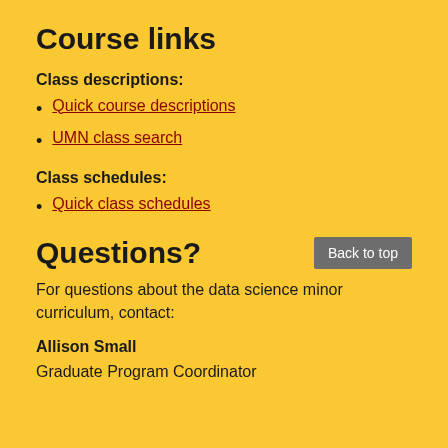Course links
Class descriptions:
Quick course descriptions
UMN class search
Class schedules:
Quick class schedules
Questions?
For questions about the data science minor curriculum, contact:
Allison Small
Graduate Program Coordinator